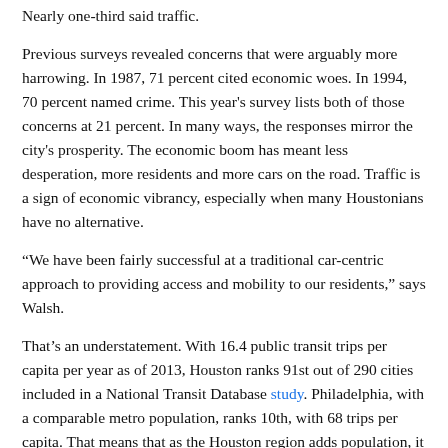Nearly one-third said traffic.
Previous surveys revealed concerns that were arguably more harrowing. In 1987, 71 percent cited economic woes. In 1994, 70 percent named crime. This year's survey lists both of those concerns at 21 percent. In many ways, the responses mirror the city's prosperity. The economic boom has meant less desperation, more residents and more cars on the road. Traffic is a sign of economic vibrancy, especially when many Houstonians have no alternative.
“We have been fairly successful at a traditional car-centric approach to providing access and mobility to our residents,” says Walsh.
That’s an understatement. With 16.4 public transit trips per capita per year as of 2013, Houston ranks 91st out of 290 cities included in a National Transit Database study. Philadelphia, with a comparable metro population, ranks 10th, with 68 trips per capita. That means that as the Houston region adds population, it adds a disproportionately high number of car trips.
By some measure, this number won’t be going down any time